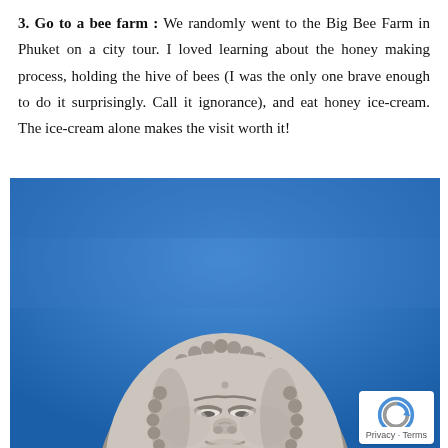3. Go to a bee farm : We randomly went to the Big Bee Farm in Phuket on a city tour. I loved learning about the honey making process, holding the hive of bees (I was the only one brave enough to do it surprisingly. Call it ignorance), and eat honey ice-cream. The ice-cream alone makes the visit worth it!
[Figure (photo): Close-up photo of a large white marble Buddha statue face looking upward against a bright blue sky. The statue has curled hair ornaments around the head and a serene expression.]